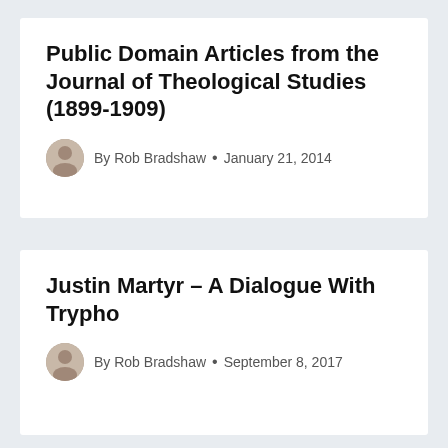Public Domain Articles from the Journal of Theological Studies (1899-1909)
By Rob Bradshaw • January 21, 2014
Justin Martyr – A Dialogue With Trypho
By Rob Bradshaw • September 8, 2017